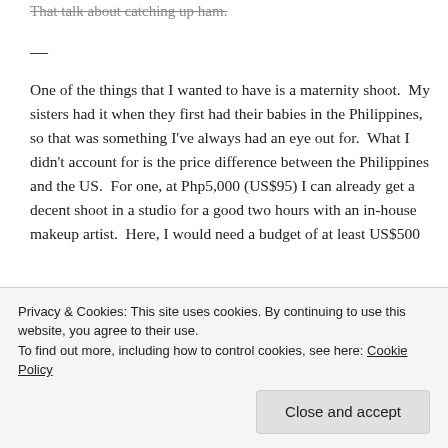That talk about catching up ham.
—
One of the things that I wanted to have is a maternity shoot.  My sisters had it when they first had their babies in the Philippines, so that was something I've always had an eye out for.  What I didn't account for is the price difference between the Philippines and the US.  For one, at Php5,000 (US$95) I can already get a decent shoot in a studio for a good two hours with an in-house makeup artist.  Here, I would need a budget of at least US$500
Privacy & Cookies: This site uses cookies. By continuing to use this website, you agree to their use.
To find out more, including how to control cookies, see here: Cookie Policy
Close and accept
That was a cost I wasn't prepared for, but that